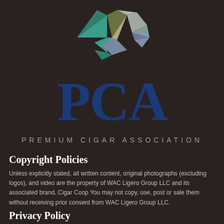[Figure (logo): PCA Premium Cigar Association geometric leaf/diamond logo in teal, olive, khaki, and gray tones]
PCA
PREMIUM CIGAR ASSOCIATION
Copyright Policies
Unless explicitly stated, all written content, original photographs (excluding logos), and video are the property of WAC Ligero Group LLC and its associated brand, Cigar Coop You may not copy, use, post or sale them without receiving prior consent from WAC Ligero Group LLC.
Privacy Policy